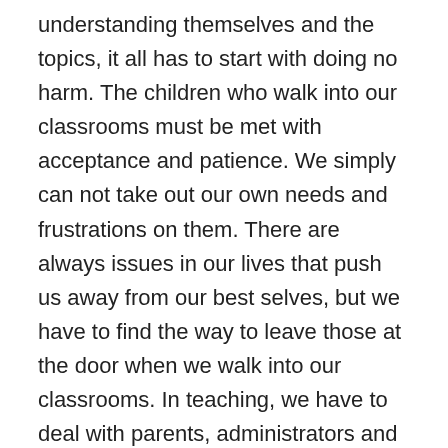understanding themselves and the topics, it all has to start with doing no harm. The children who walk into our classrooms must be met with acceptance and patience. We simply can not take out our own needs and frustrations on them. There are always issues in our lives that push us away from our best selves, but we have to find the way to leave those at the door when we walk into our classrooms. In teaching, we have to deal with parents, administrators and colleagues, all of whom can wear us down or plain and simply irritate us. We can not redirect those emotions at our students. They are vulnerable when in our care. We are the ones with the power to create or to tear down.
This week in class, one girl was following her standard practice. Before I finished asking a question, her hand had shot into the air, waving wildly in spite of the fact that her seat was in the front row, directly in front of me. I let her